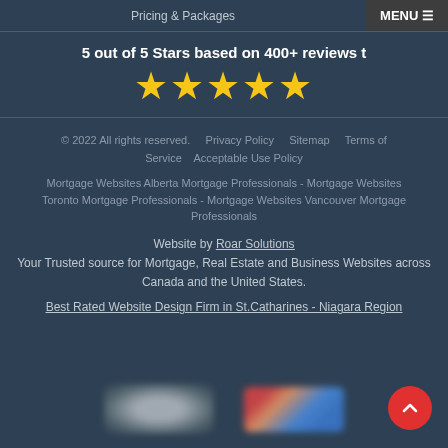Pricing & Packages    MENU ☰
5 out of 5 Stars based on 400+ reviews t
[Figure (other): Five gold star rating icons]
© 2022 All rights reserved.    Privacy Policy    Sitemap    Terms of Service    Acceptable Use Policy
Mortgage Websites Alberta Mortgage Professionals - Mortgage Websites Toronto Mortgage Professionals - Mortgage Websites Vancouver Mortgage Professionals
Website by Roar Solutions
Your Trusted source for Mortgage, Real Estate and Business Websites across Canada and the United States.
Best Rated Website Design Firm in St.Catharines - Niagara Region
[Figure (logo): Two blurred logo images at the bottom of the page]